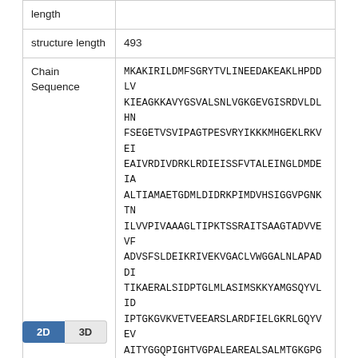| Field | Value |
| --- | --- |
| length |  |
| structure length | 493 |
| Chain Sequence | MKAKIRILDMFSGRYTVLINEEDAKEAKLHPDDLVKIEAGKKAVYGSVALSNLVGKGEVGISRDVLDLHNFSEGETVSVIPAGTPESVRYIKKKM HGEKLRKVEIEAIVRDIVDRKLRDIEISSFVTALEINGLDMDEIAALTIAMAE TGDMLDIDRKPIMDVHSIGGVPGNKTNILVVPIVAAA GLTIPKTSSRAITSAAGTADVVEVFADVSFSLDEIKRIVEKVGACLVWGGALNLAPADDITIKAERALSIDPTGLMLASIMSKKYAMGSQYVLIDIPTGKGVKVETVEEARSLARDFIEL GKRLGQYVEVAI TYGGQPIGHTVGPALEAREALSALMTGKGPGSLIEKATGLAGILLEMGGVAPAGTGKKMAKEILESGKAWEKMKEIIEAQGGDPNIKPEEIPIGDKTYTFTAATSGYVTAIDNRAITAIARAAGAPEDKGAGIELYVKVGEKVKEGDPLFTIHAE HEARLDQAIVLARRTEPIIRIE |